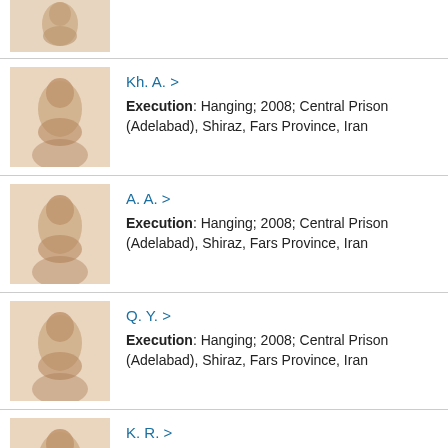(partial, top) — photo only, name truncated
Kh. A. > Execution: Hanging; 2008; Central Prison (Adelabad), Shiraz, Fars Province, Iran
A. A. > Execution: Hanging; 2008; Central Prison (Adelabad), Shiraz, Fars Province, Iran
Q. Y. > Execution: Hanging; 2008; Central Prison (Adelabad), Shiraz, Fars Province, Iran
K. R. > Execution: Hanging; 2008; Central Prison (Adelabad), Shiraz, Fars Province, Iran
Unknown >